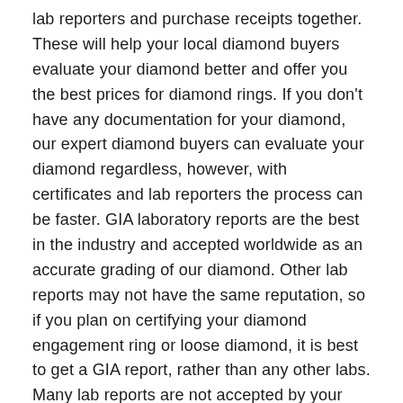lab reporters and purchase receipts together. These will help your local diamond buyers evaluate your diamond better and offer you the best prices for diamond rings. If you don't have any documentation for your diamond, our expert diamond buyers can evaluate your diamond regardless, however, with certificates and lab reporters the process can be faster. GIA laboratory reports are the best in the industry and accepted worldwide as an accurate grading of our diamond. Other lab reports may not have the same reputation, so if you plan on certifying your diamond engagement ring or loose diamond, it is best to get a GIA report, rather than any other labs. Many lab reports are not accepted by your San Diego diamond buyers because their grading is off the standard that GIA sets. Call us today to get a free quote on your diamond or stop in during our business hours. Call us at (619)777-6265 for a free diamond buyers quote.